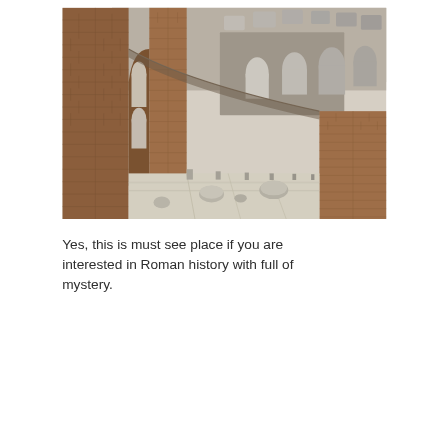[Figure (photo): Interior photograph of the Colosseum in Rome, showing ancient brick arched corridors, stone ruins, and scattered marble fragments along a walkway, with the upper tiers visible in the background against a bright sky.]
Yes, this is must see place if you are interested in Roman history with full of mystery.